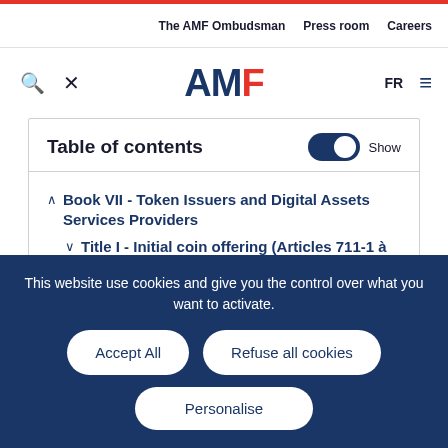The AMF Ombudsman | Press room | Careers
[Figure (logo): AMF (Autorité des marchés financiers) logo with search, tools icons and FR language toggle and hamburger menu]
Table of contents
Book VII - Token Issuers and Digital Assets Services Providers
Title I - Initial coin offering (Articles 711-1 à 715-2)
Title II - Digital Assets Services Providers (partially visible)
This website use cookies and give you the control over what you want to activate.
Accept All | Refuse all cookies | Personalise